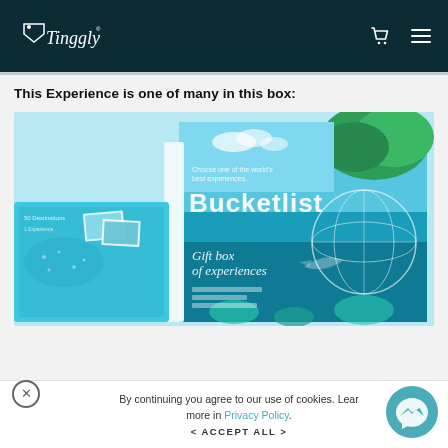Tinggly
This Experience is one of many in this box:
[Figure (photo): Product photo of a Tinggly 'Bucketlist' gift box of experiences — a turquoise box with tropical island imagery and a manta ray underwater scene. Text on box reads 'Bucketlist' and 'Gift box of experiences'. A smaller flat box is visible to the left.]
By continuing you agree to our use of cookies. Learn more in Privacy Policy.
< ACCEPT ALL >